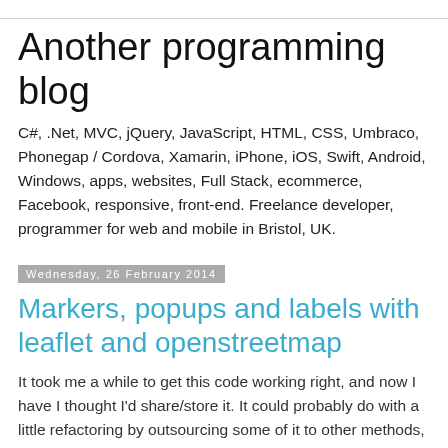Another programming blog
C#, .Net, MVC, jQuery, JavaScript, HTML, CSS, Umbraco, Phonegap / Cordova, Xamarin, iPhone, iOS, Swift, Android, Windows, apps, websites, Full Stack, ecommerce, Facebook, responsive, front-end. Freelance developer, programmer for web and mobile in Bristol, UK.
Wednesday, 26 February 2014
Markers, popups and labels with leaflet and openstreetmap
It took me a while to get this code working right, and now I have I thought I'd share/store it. It could probably do with a little refactoring by outsourcing some of it to other methods, but it's good to go and its linear nature makes it easier to post here. I started this off using google maps but the performance was terrible and after a bit of zooming/panning